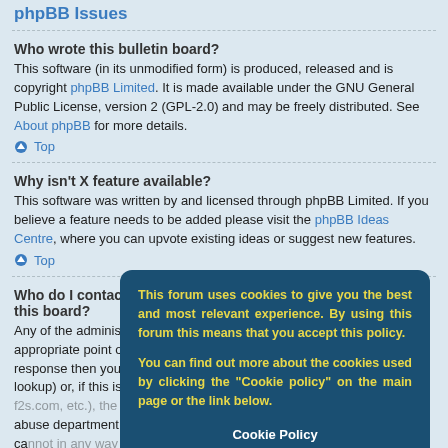phpBB Issues
Who wrote this bulletin board?
This software (in its unmodified form) is produced, released and is copyright phpBB Limited. It is made available under the GNU General Public License, version 2 (GPL-2.0) and may be freely distributed. See About phpBB for more details.
Top
Why isn't X feature available?
This software was written by and licensed through phpBB Limited. If you believe a feature needs to be added please visit the phpBB Ideas Centre, where you can upvote existing ideas or suggest new features.
Top
Who do I contact about abusive and/or legal matters related to this board?
Any of the administrators listed on the "The team" page should be an appropriate point of contact for your complaints. If this still gets no response then you should contact the owner of the domain (do a whois lookup) or, if this is running on a free service (e.g. Yahoo!, free.fr, f2s.com, etc.), the management or abuse department of that service. Please note that the phpBB Limited has absolutely no jurisdiction and cannot in any way be held liable over how, where or by whom this board is used. Do not contact the phpBB Limited in relation to any legal (cease and desist, liable, defamatory comment, etc.) matter not directly related to the phpBB.com website or the discrete software of phpBB itself. If you do email phpBB Limited about any third party use of this
[Figure (infographic): Cookie consent overlay popup with dark blue background and yellow text reading: 'This forum uses cookies to give you the best and most relevant experience. By using this forum this means that you accept this policy.' and 'You can find out more about the cookies used by clicking the "Cookie policy" on the main page or the link below.' with white text buttons 'Cookie Policy' and '[ I accept ]']